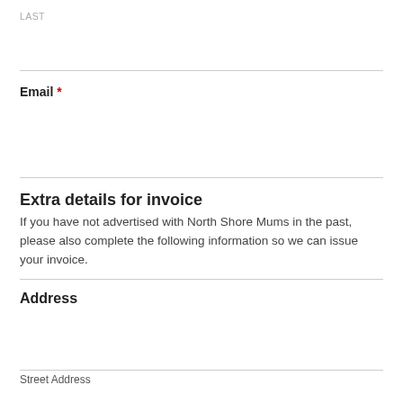LAST
Email *
Extra details for invoice
If you have not advertised with North Shore Mums in the past, please also complete the following information so we can issue your invoice.
Address
Street Address